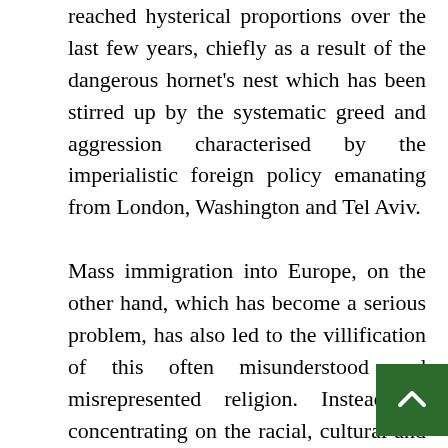reached hysterical proportions over the last few years, chiefly as a result of the dangerous hornet's nest which has been stirred up by the systematic greed and aggression characterised by the imperialistic foreign policy emanating from London, Washington and Tel Aviv.

Mass immigration into Europe, on the other hand, which has become a serious problem, has also led to the villification of this often misunderstood and misrepresented religion. Instead of concentrating on the racial, cultural and linguistic implications of this development, some of the more opportunistic politicians – encouraged, as always, by the reactionary mass media – have attempted to leap the populist bandwagon and smear Islam in general